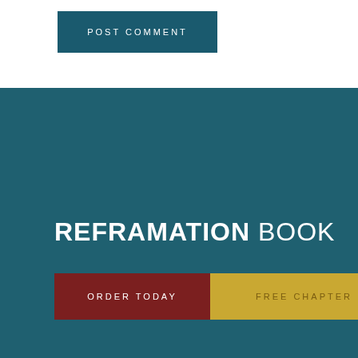POST COMMENT
REFRAMATION BOOK
ORDER TODAY
FREE CHAPTER
©2019 Alan Hirsch & Mark Nelson. Site Design by New Frame Creative.